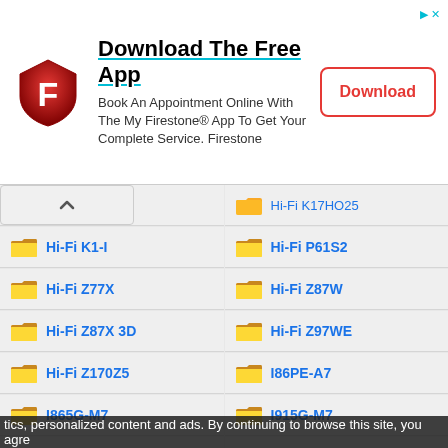[Figure (screenshot): Firestone app advertisement banner with red shield logo, 'Download The Free App' heading, descriptive text, and Download button]
Hi-Fi K1-I
Hi-Fi P61S2
Hi-Fi Z77X
Hi-Fi Z87W
Hi-Fi Z87X 3D
Hi-Fi Z97WE
Hi-Fi Z170Z5
I86PE-A7
I865G-M7
I915G-M7
I915P-A7 Combo
I915P-A7 PCI-ED
I945G-M7
I945G-M7C
tics, personalized content and ads. By continuing to browse this site, you agre